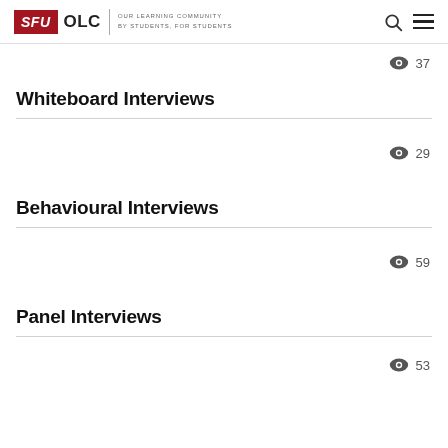SFU OLC | OUR LEARNING COMMUNITY BY STUDENTS, FOR STUDENTS
👁 37
Whiteboard Interviews
👁 29
Behavioural Interviews
👁 59
Panel Interviews
👁 53